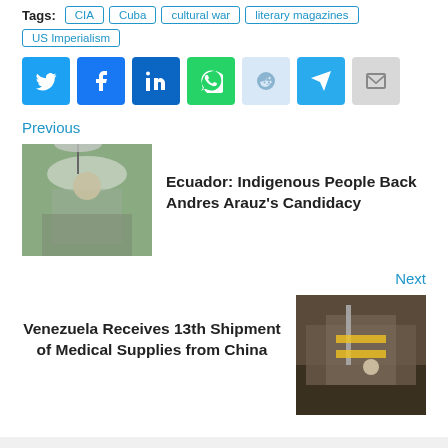Tags: CIA | Cuba | cultural war | literary magazines | US Imperialism
[Figure (other): Social share buttons: Twitter, Facebook, LinkedIn, WhatsApp, Reddit, Telegram, Email]
Previous
[Figure (photo): Photo of a person holding an umbrella outdoors with others around them]
Ecuador: Indigenous People Back Andres Arauz's Candidacy
Next
[Figure (photo): Photo of a ship or industrial cargo vessel being loaded]
Venezuela Receives 13th Shipment of Medical Supplies from China
TAX DEDUCTIBLE DONATIONS